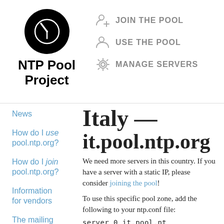[Figure (logo): NTP Pool Project logo: black circle with clock hands, bold text 'NTP Pool Project' below]
JOIN THE POOL
USE THE POOL
MANAGE SERVERS
News
How do I use pool.ntp.org?
How do I join pool.ntp.org?
Information for vendors
The mailing lists
Italy — it.pool.ntp.org
We need more servers in this country. If you have a server with a static IP, please consider joining the pool!
To use this specific pool zone, add the following to your ntp.conf file:
server 0.it.pool.nt